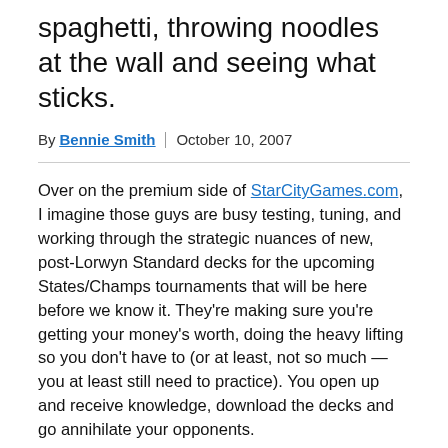spaghetti, throwing noodles at the wall and seeing what sticks.
By Bennie Smith | October 10, 2007
Over on the premium side of StarCityGames.com, I imagine those guys are busy testing, tuning, and working through the strategic nuances of new, post-Lorwyn Standard decks for the upcoming States/Champs tournaments that will be here before we know it. They're making sure you're getting your money's worth, doing the heavy lifting so you don't have to (or at least, not so much — you at least still need to practice). You open up and receive knowledge, download the decks and go annihilate your opponents.
Over here on the free side, we're all in the strategic vat together, stirring a big ol' pot of Standard spaghetti, throwing noodles at the wall and seeing what sticks. I'm